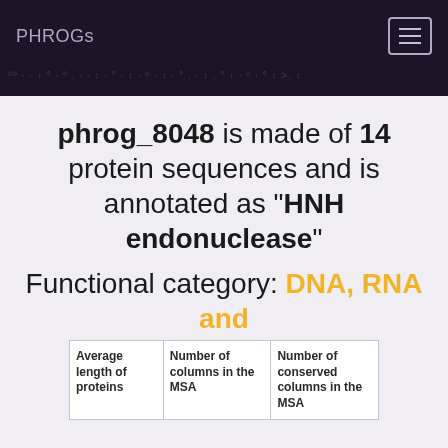PHROGs
phrog_8048 is made of 14 protein sequences and is annotated as "HNH endonuclease"
Functional category: DNA, RNA and nucleotide metabolism
|  | Number of columns in the MSA | Number of conserved columns in the MSA |
| --- | --- | --- |
| Average length of proteins |  |  |